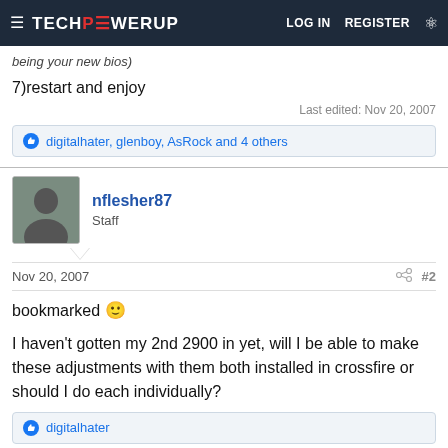TechPowerUp — LOG IN  REGISTER
being your new bios)
7)restart and enjoy
Last edited: Nov 20, 2007
digitalhater, glenboy, AsRock and 4 others
nflesher87
Staff
Nov 20, 2007   #2
bookmarked :)
I haven't gotten my 2nd 2900 in yet, will I be able to make these adjustments with them both installed in crossfire or should I do each individually?
digitalhater